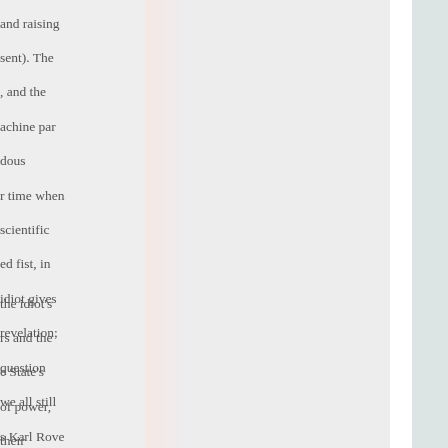and raising sent). The , and the achine par dous r time when scientific ed fist, in idiot gives revelation; question we all still s Karl Rove
the idiot's rs and the e State's of power, heir ism and e terrified of control of y the en. They atterns in ations-cum- us them